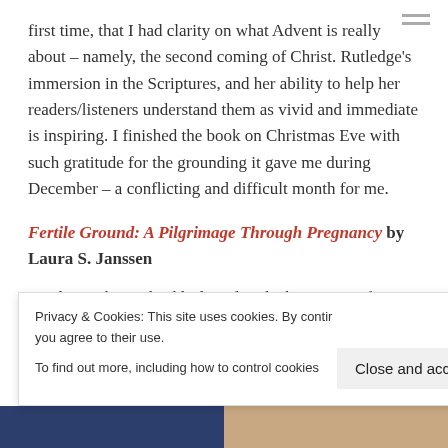first time, that I had clarity on what Advent is really about – namely, the second coming of Christ. Rutledge's immersion in the Scriptures, and her ability to help her readers/listeners understand them as vivid and immediate is inspiring. I finished the book on Christmas Eve with such gratitude for the grounding it gave me during December – a conflicting and difficult month for me.
Fertile Ground: A Pilgrimage Through Pregnancy by Laura S. Janssen
I'm due with our third little girl at the beginning of March
Privacy & Cookies: This site uses cookies. By continuing to use this website, you agree to their use.
To find out more, including how to control cookies, see here: